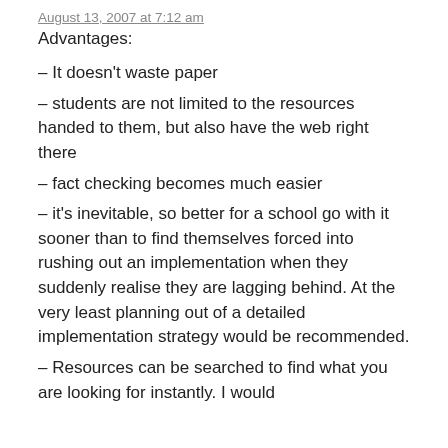August 13, 2007 at 7:12 am
Advantages:
– It doesn't waste paper
– students are not limited to the resources handed to them, but also have the web right there
– fact checking becomes much easier
– it's inevitable, so better for a school go with it sooner than to find themselves forced into rushing out an implementation when they suddenly realise they are lagging behind. At the very least planning out of a detailed implementation strategy would be recommended.
– Resources can be searched to find what you are looking for instantly. I would